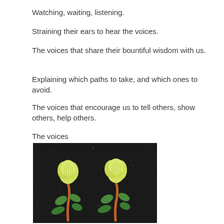Watching, waiting, listening.
Straining their ears to hear the voices.
The voices that share their bountiful wisdom with us.
Explaining which paths to take, and which ones to avoid.
The voices that encourage us to tell others, show others, help others.
The voices
[Figure (photo): Two small plant seedlings with yellow-green tops and orange-red stems, with green leaves, growing from dark soil. Artwork or craft representation of seedlings.]